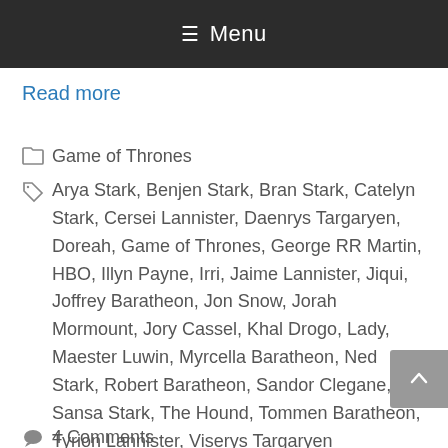Menu
Read more
Game of Thrones
Arya Stark, Benjen Stark, Bran Stark, Catelyn Stark, Cersei Lannister, Daenrys Targaryen, Doreah, Game of Thrones, George RR Martin, HBO, Illyn Payne, Irri, Jaime Lannister, Jiqui, Joffrey Baratheon, Jon Snow, Jorah Mormount, Jory Cassel, Khal Drogo, Lady, Maester Luwin, Myrcella Baratheon, Ned Stark, Robert Baratheon, Sandor Clegane, Sansa Stark, The Hound, Tommen Baratheon, Tyrion Lannister, Viserys Targaryen
4 Comments